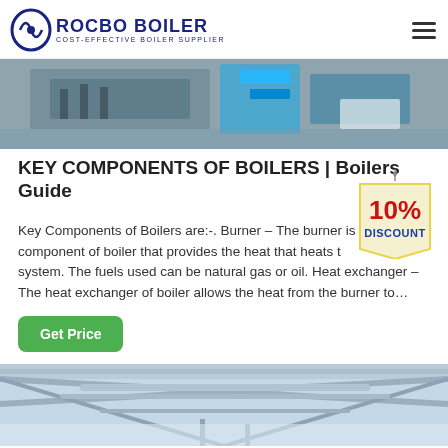ROCBO BOILER | COST-EFFECTIVE BOILER SUPPLIER
[Figure (photo): Industrial boiler facility interior showing manufacturing equipment and blue machinery]
KEY COMPONENTS OF BOILERS | Boilers Guide
[Figure (illustration): 10% DISCOUNT badge/sticker in red and yellow]
Key Components of Boilers are:-. Burner – The burner is component of boiler that provides the heat that heats the system. The fuels used can be natural gas or oil. Heat exchanger – The heat exchanger of boiler allows the heat from the burner to…
[Figure (photo): Industrial ceiling with piping and structural supports in a light blue/white toned facility]